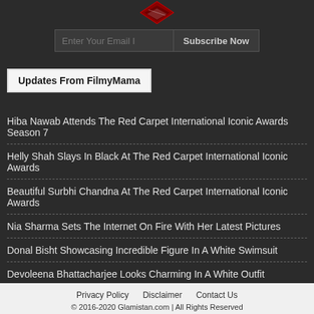[Figure (logo): Red and white logo mark at top center]
Enter Your Email I[nput] Subscribe Now
Updates From FilmyMama
Hiba Nawab Attends The Red Carpet International Iconic Awards Season 7
Helly Shah Slays In Black At The Red Carpet International Iconic Awards
Beautiful Surbhi Chandna At The Red Carpet International Iconic Awards
Nia Sharma Sets The Internet On Fire With Her Latest Pictures
Donal Bisht Showcasing Incredible Figure In A White Swimsuit
Devoleena Bhattacharjee Looks Charming In A White Outfit
Privacy Policy   Disclaimer   Contact Us
© 2016-2020 Glamistan.com | All Rights Reserved